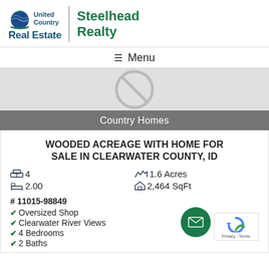[Figure (logo): United Country Real Estate - Steelhead Realty logo with globe icon on left, vertical divider, and Steelhead Realty text on right]
≡ Menu
[Figure (photo): Property image placeholder with no-image icon (circle with diagonal line)]
Country Homes
WOODED ACREAGE WITH HOME FOR SALE IN CLEARWATER COUNTY, ID
4  1.6 Acres  2.00  2,464 SqFt
# 11015-98849
Oversized Shop
Clearwater River Views
4 Bedrooms
2 Baths